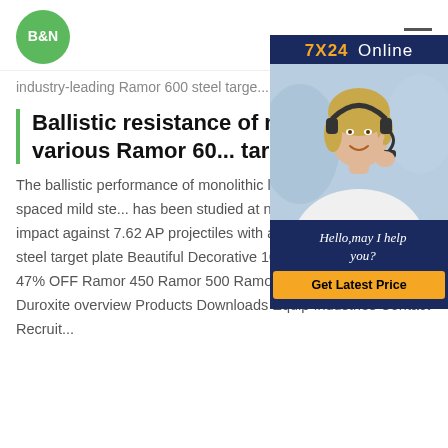B&N
industry-leading Ramor 600 steel targe...
[Figure (photo): Customer support representative wearing a headset, with 7X24 Online banner and Hello, may I help you? message and Get Latest Price button]
Ballistic resistance of mild plates of various Ramor 600 target plate
The ballistic performance of monolithic layered in contact and spaced mild steel... has been studied at normal and oblique impact against 7.62 AP projectiles with an objective Ramor 600 steel target plate Beautiful Decorative 100% Cotton Table Max 47% OFF Ramor 450 Ramor 500 Ramor 550 Ramor 600. Duroxite overview Products Downloads Equip Industries Contact Recruit...